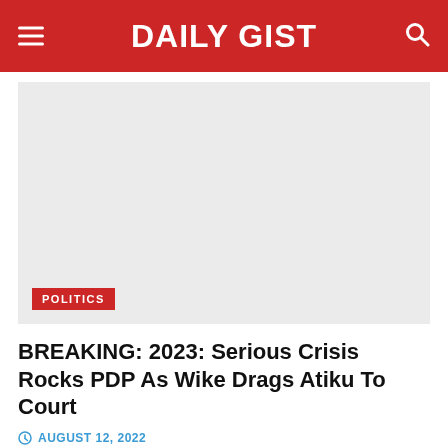DAILY GIST
[Figure (photo): Large placeholder image with light gray background and 'POLITICS' red label badge in the bottom left corner]
BREAKING: 2023: Serious Crisis Rocks PDP As Wike Drags Atiku To Court
AUGUST 12, 2022